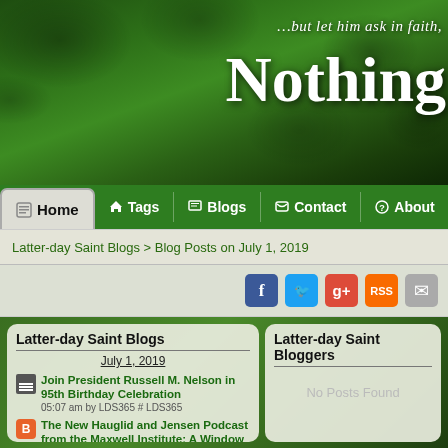...but let him ask in faith, Nothing
Home | Tags | Blogs | Contact | About
Latter-day Saint Blogs > Blog Posts on July 1, 2019
[Figure (screenshot): Social media icons: Facebook, Twitter, Google+, RSS, Email]
Latter-day Saint Blogs
July 1, 2019
Join President Russell M. Nelson in 95th Birthday Celebration
05:07 am by LDS365 # LDS365
The New Hauglid and Jensen Podcast from the Maxwell Institute: A Window into the Personal Views of the Editors of the JSP Volume on the Book of Abraham
09:48 am by Jeff Lindsay #
Latter-day Saint Bloggers
No Posts Found